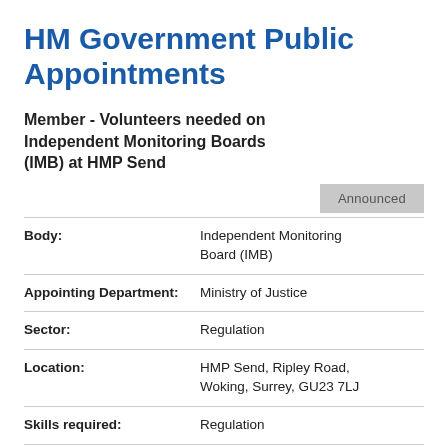HM Government Public Appointments
Member - Volunteers needed on Independent Monitoring Boards (IMB) at HMP Send
Announced
| Field | Value |
| --- | --- |
| Body: | Independent Monitoring Board (IMB) |
| Appointing Department: | Ministry of Justice |
| Sector: | Regulation |
| Location: | HMP Send, Ripley Road, Woking, Surrey, GU23 7LJ |
| Skills required: | Regulation |